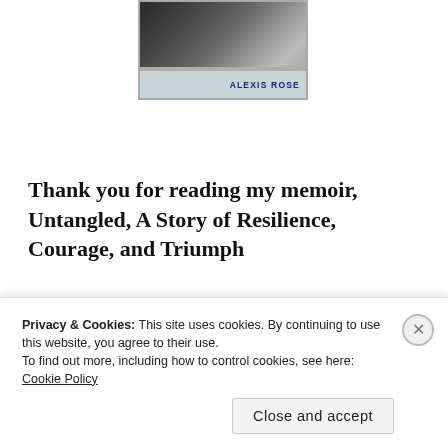[Figure (photo): Book cover image showing a dog, with 'ALEXIS ROSE' author name at the bottom in dark blue text on a light background]
Thank you for reading my memoir, Untangled, A Story of Resilience, Courage, and Triumph
[Figure (other): Advertisement banner with colorful segments including teal, beige, and pink sections]
Privacy & Cookies: This site uses cookies. By continuing to use this website, you agree to their use.
To find out more, including how to control cookies, see here: Cookie Policy
Close and accept